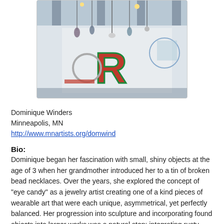[Figure (photo): Interior of an art studio/gallery with large hanging objects and a prominent red letter 'R' artwork on the wall, industrial ceiling visible.]
Dominique Winders
Minneapolis, MN
http://www.mnartists.org/domwind
Bio:
Dominique began her fascination with small, shiny objects at the age of 3 when her grandmother introduced her to a tin of broken bead necklaces. Over the years, she explored the concept of "eye candy" as a jewelry artist creating one of a kind pieces of wearable art that were each unique, asymmetrical, yet perfectly balanced. Her progression into sculpture and incorporating found objects into larger works was a natural step; integrating rusty relics with precious